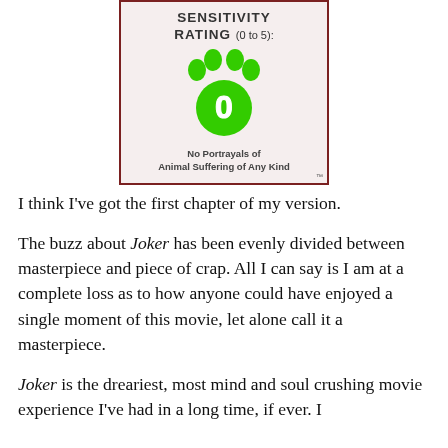[Figure (infographic): Animal sensitivity rating box with a green paw print icon showing a rating of 0 (out of 5), titled 'SENSITIVITY RATING (0 to 5):' with description 'No Portrayals of Animal Suffering of Any Kind']
I think I've got the first chapter of my version.
The buzz about Joker has been evenly divided between masterpiece and piece of crap. All I can say is I am at a complete loss as to how anyone could have enjoyed a single moment of this movie, let alone call it a masterpiece.
Joker is the dreariest, most mind and soul crushing movie experience I've had in a long time, if ever. I